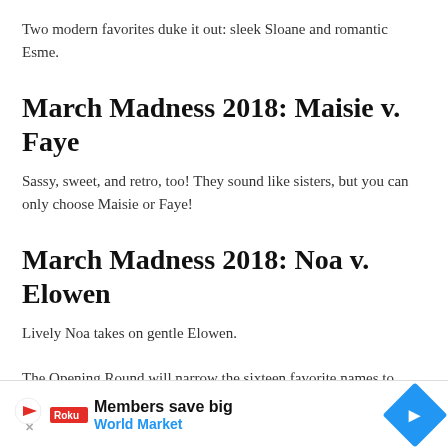Two modern favorites duke it out: sleek Sloane and romantic Esme.
March Madness 2018: Maisie v. Faye
Sassy, sweet, and retro, too! They sound like sisters, but you can only choose Maisie or Faye!
March Madness 2018: Noa v. Elowen
Lively Noa takes on gentle Elowen.
The Opening Round will narrow the sixteen favorite names to eig… wh…
[Figure (other): Advertisement banner: Members save big - World Market, with a blue diamond arrow icon and streaming service logo]